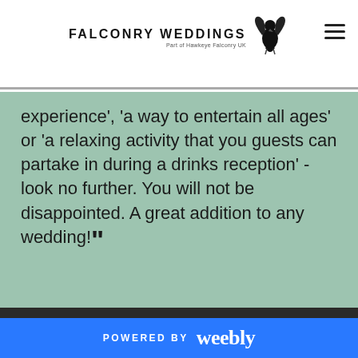FALCONRY WEDDINGS Part of Hawkeye Falconry UK
experience', 'a way to entertain all ages' or 'a relaxing activity that you guests can partake in during a drinks reception' - look no further. You will not be disappointed. A great addition to any wedding!””
[Figure (photo): Close-up photograph of white spring blossoms (cherry or plum flowers) on dark branches against a blurred dark background]
POWERED BY weebly